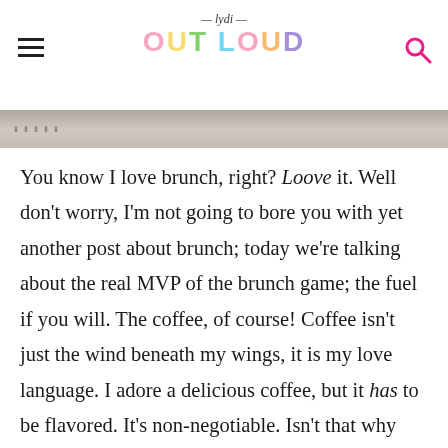lydi OUT LOUD
[Figure (photo): A partial photo strip showing a blurred/cropped food or brunch image in muted beige/stone tones with text overlay]
You know I love brunch, right? Loove it. Well don't worry, I'm not going to bore you with yet another post about brunch; today we're talking about the real MVP of the brunch game; the fuel if you will. The coffee, of course! Coffee isn't just the wind beneath my wings, it is my love language. I adore a delicious coffee, but it has to be flavored. It's non-negotiable. Isn't that why people spend